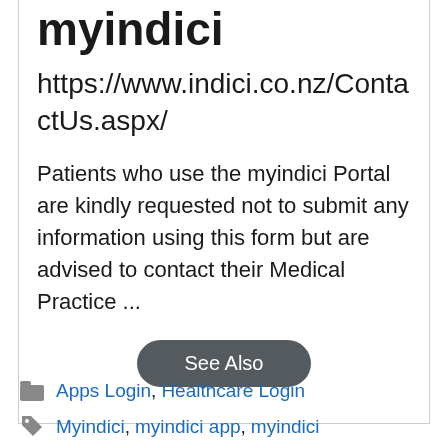myindici
https://www.indici.co.nz/ContactUs.aspx/
Patients who use the myindici Portal are kindly requested not to submit any information using this form but are advised to contact their Medical Practice ...
See Also
Apps Login, Healthcare Login
Myindici, myindici app, myindici